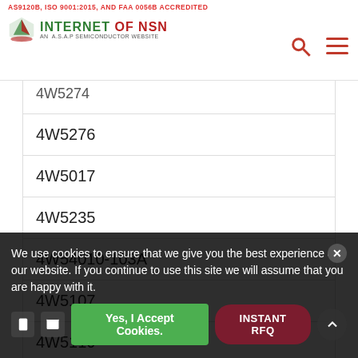AS9120B, ISO 9001:2015, AND FAA 0056B ACCREDITED — INTERNET OF NSN, AN A.S.A.P SEMICONDUCTOR WEBSITE
4W5276
4W5017
4W5235
4W54010-103A
4W5107
4W5110
4W5275
We use cookies to ensure that we give you the best experience on our website. If you continue to use this site we will assume that you are happy with it.